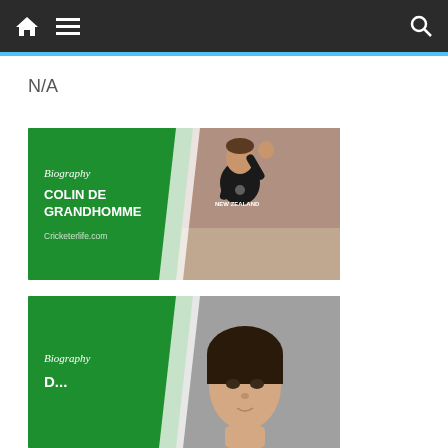Navigation bar with home, menu, and search icons
N/A
[Figure (photo): Biography card for Colin de Grandhomme - green left panel with 'Biography' italic text, bold white text 'COLIN DE GRANDHOMME', 'Cricketerlife.com' in grey, and a photo of a cricketer in New Zealand black uniform celebrating with fist raised]
[Figure (photo): Biography card partially visible - green left panel with 'Biography' italic text and partially visible name text, with a photo of a woman's face on grey background]